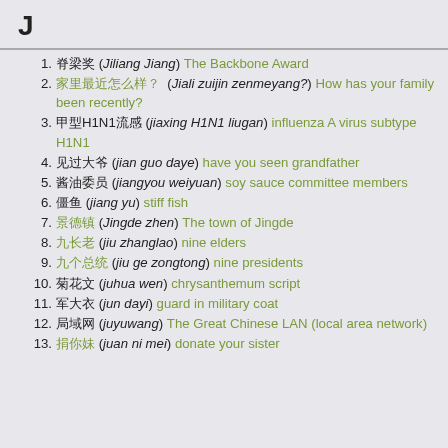J
1. 脊梁奖 (Jiliang Jiang) The Backbone Award
2. 家里最近怎么样？(Jiali zuijin zenmeyang?) How has your family been recently?
3. 甲型H1N1流感 (jiaxing H1N1 liugan) influenza A virus subtype H1N1
4. 见过大爷 (jian guo daye) have you seen grandfather
5. 酱油委员 (jiangyou weiyuan) soy sauce committee members
6. 僵鱼 (jiang yu) stiff fish
7. 景德镇 (Jingde zhen) The town of Jingde
8. 九长老 (jiu zhanglao) nine elders
9. 九个总统 (jiu ge zongtong) nine presidents
10. 菊花文 (juhua wen) chrysanthemum script
11. 军大衣 (jun dayi) guard in military coat
12. 局域网 (juyuwang) The Great Chinese LAN (local area network)
13. 捐你妹 (juan ni mei) donate your sister